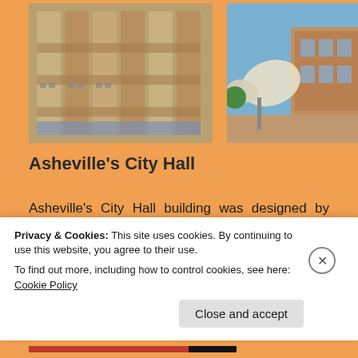[Figure (photo): Photo of decorative wall panels or tiles with colorful quilt-like patterns, displayed outdoors]
[Figure (photo): Photo of a large butterfly or wing sculpture in front of a brick building on a sunny day]
Asheville’s City Hall
Asheville’s City Hall building was designed by Douglas Ellington in 1926, an architect who came to Asheville in the mid-1920s. The building is a
Privacy & Cookies: This site uses cookies. By continuing to use this website, you agree to their use.
To find out more, including how to control cookies, see here: Cookie Policy
Close and accept